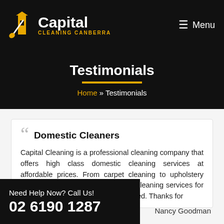Capital Cleaning Canberra | Menu
Testimonials
Home » Testimonials
" Domestic Cleaners
Capital Cleaning is a professional cleaning company that offers high class domestic cleaning services at affordable prices. From carpet cleaning to upholstery cleaning, I have tried many of their cleaning services for my home and I am thoroughly satisfied. Thanks for
Nancy Goodman
Need Help Now? Call Us!
02 6190 1287